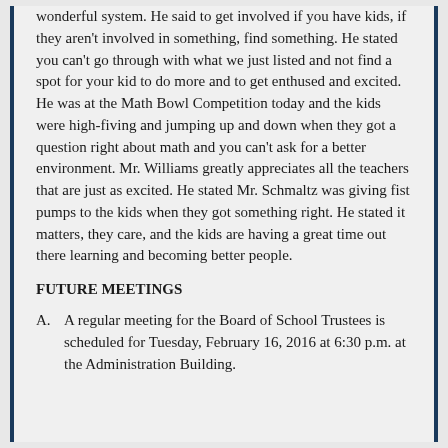wonderful system. He said to get involved if you have kids, if they aren't involved in something, find something. He stated you can't go through with what we just listed and not find a spot for your kid to do more and to get enthused and excited. He was at the Math Bowl Competition today and the kids were high-fiving and jumping up and down when they got a question right about math and you can't ask for a better environment. Mr. Williams greatly appreciates all the teachers that are just as excited. He stated Mr. Schmaltz was giving fist pumps to the kids when they got something right. He stated it matters, they care, and the kids are having a great time out there learning and becoming better people.
FUTURE MEETINGS
A.   A regular meeting for the Board of School Trustees is scheduled for Tuesday, February 16, 2016 at 6:30 p.m. at the Administration Building.